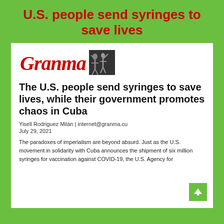U.S. people send syringes to save lives
[Figure (logo): Granma newspaper logo with red italic Granma text, black and white photo of revolutionary figures, and text OFFICIAL VOICE OF THE COMMUNIST PARTY OF CUBA CENTRAL COMMITTEE]
The U.S. people send syringes to save lives, while their government promotes chaos in Cuba
Yisell Rodriguez Milán | internet@granma.cu
July 29, 2021
The paradoxes of imperialism are beyond absurd. Just as the U.S. movement in solidarity with Cuba announces the shipment of six million syringes for vaccination against COVID-19, the U.S. Agency for